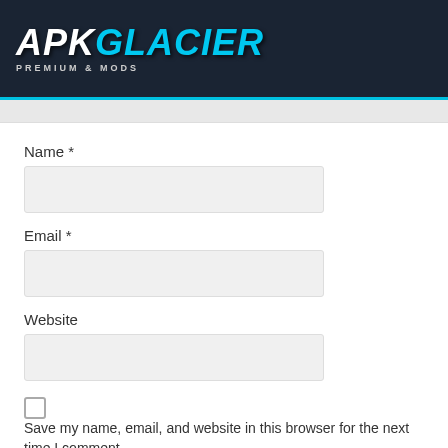[Figure (logo): APKGlacier logo — white APK and cyan GLACIER text in bold italic with 'PREMIUM & MODS' subtitle, on dark navy background]
Name *
Email *
Website
Save my name, email, and website in this browser for the next time I comment.
Post Comment